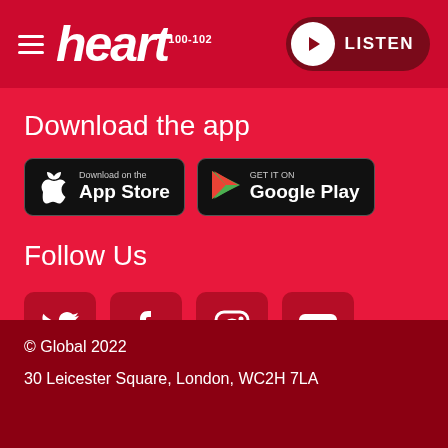heart 100-102 — LISTEN
Download the app
[Figure (other): App Store and Google Play download buttons]
Follow Us
[Figure (other): Social media icons: Twitter, Facebook, Instagram, YouTube]
© Global 2022
30 Leicester Square, London, WC2H 7LA